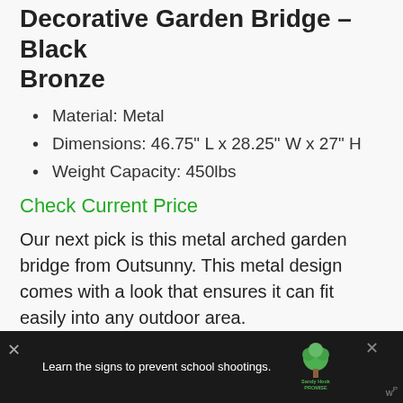Decorative Garden Bridge – Black Bronze
Material: Metal
Dimensions: 46.75" L x 28.25" W x 27" H
Weight Capacity: 450lbs
Check Current Price
Our next pick is this metal arched garden bridge from Outsunny. This metal design comes with a look that ensures it can fit easily into any outdoor area.
You don't have to worry about functionality as
[Figure (screenshot): Advertisement banner: dark background with text 'Learn the signs to prevent school shootings.' and Sandy Hook Promise logo with tree graphic, and close buttons.]